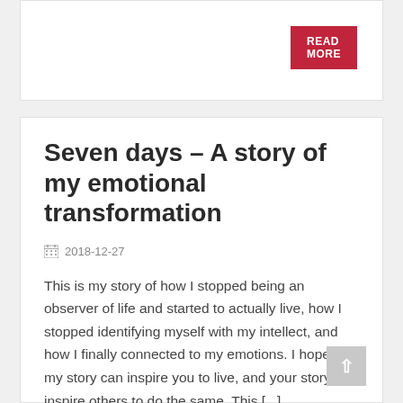READ MORE
Seven days – A story of my emotional transformation
2018-12-27
This is my story of how I stopped being an observer of life and started to actually live, how I stopped identifying myself with my intellect, and how I finally connected to my emotions. I hope that my story can inspire you to live, and your story can inspire others to do the same. This [...]